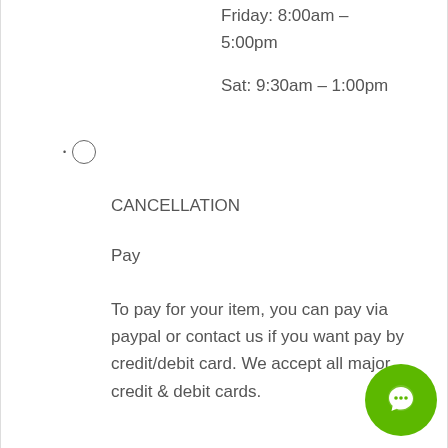Friday: 8:00am – 5:00pm
Sat: 9:30am – 1:00pm
○
CANCELLATION
Pay
To pay for your item, you can pay via paypal or contact us if you want pay by credit/debit card. We accept all major credit & debit cards.
Ship
If for any reason a item needs to be returned to us for a refund please note we will not reimburse shipping costs.
If you need to cancel a order with us please contact us within 24 hours as the order may